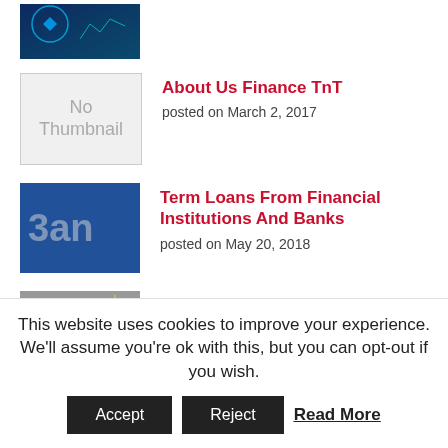[Figure (photo): Partial view of a finance-related image at the top of the page (cropped)]
About Us Finance TnT
posted on March 2, 2017
Term Loans From Financial Institutions And Banks
posted on May 20, 2018
Angel Investor Vs. Venture Capital Database – What Are The Main
This website uses cookies to improve your experience. We'll assume you're ok with this, but you can opt-out if you wish.
Accept  Reject  Read More